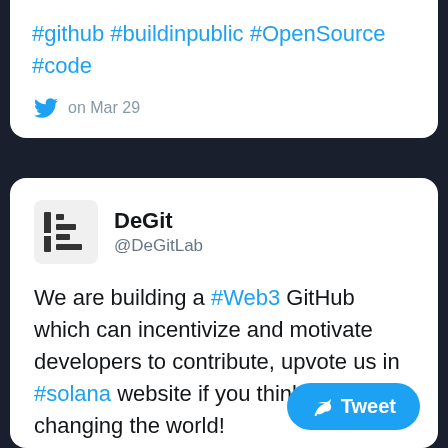#github #buildinpublic #OpenSource #code
on Mar 29
DeGit @DeGitLab
We are building a #Web3 GitHub which can incentivize and motivate developers to contribute, upvote us in #solana website if you think we are changing the world!
#buildinpublic #GitHub #DevOps #DAO #opensource #development #Web3... #Blockchain #tech
solana.com/riptide/voting